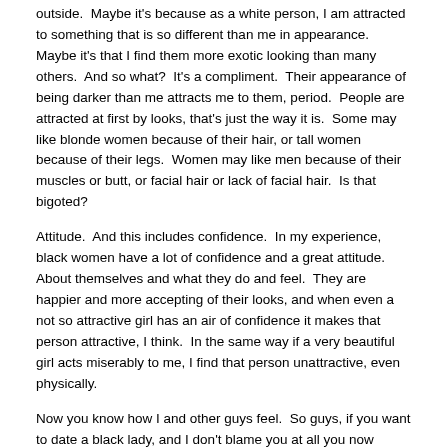outside.  Maybe it's because as a white person, I am attracted to something that is so different than me in appearance.  Maybe it's that I find them more exotic looking than many others.  And so what?  It's a compliment.  Their appearance of being darker than me attracts me to them, period.  People are attracted at first by looks, that's just the way it is.  Some may like blonde women because of their hair, or tall women because of their legs.  Women may like men because of their muscles or butt, or facial hair or lack of facial hair.  Is that bigoted?
Attitude.  And this includes confidence.  In my experience, black women have a lot of confidence and a great attitude.  About themselves and what they do and feel.  They are happier and more accepting of their looks, and when even a not so attractive girl has an air of confidence it makes that person attractive, I think.  In the same way if a very beautiful girl acts miserably to me, I find that person unattractive, even physically.
Now you know how I and other guys feel.  So guys, if you want to date a black lady, and I don't blame you at all you now know, we have some great sites we have reviewed in which you may be interested.  One is BlackTryst.com.  It's a great hook up site.